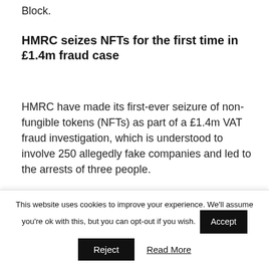Block.
HMRC seizes NFTs for the first time in £1.4m fraud case
HMRC have made its first-ever seizure of non-fungible tokens (NFTs) as part of a £1.4m VAT fraud investigation, which is understood to involve 250 allegedly fake companies and led to the arrests of three people.
According to HMRC, the suspects used "sophisticated methods" to hide their identities
This website uses cookies to improve your experience. We'll assume you're ok with this, but you can opt-out if you wish.
Accept
Reject
Read More